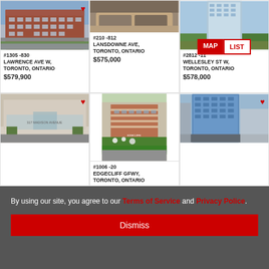[Figure (photo): Red/brown brick apartment building exterior, Toronto]
#1305 -830 LAWRENCE AVE W, TORONTO, ONTARIO $579,900
[Figure (photo): Interior bedroom photo with pillows]
#210 -812 LANSDOWNE AVE, TORONTO, ONTARIO $575,000
[Figure (photo): Tall glass skyscraper with MAP LIST toggle]
#2812 -11 WELLESLEY ST W, TORONTO, ONTARIO $578,000
[Figure (photo): 377 Madison Avenue condo building exterior]
[Figure (photo): Edgecliffe Gfwy condo building with trees and garden]
#1006 -20 EDGECLIFF GFWY, TORONTO, ONTARIO
[Figure (photo): Blue glass high-rise tower exterior]
By using our site, you agree to our Terms of Service and Privacy Police.
Dismiss